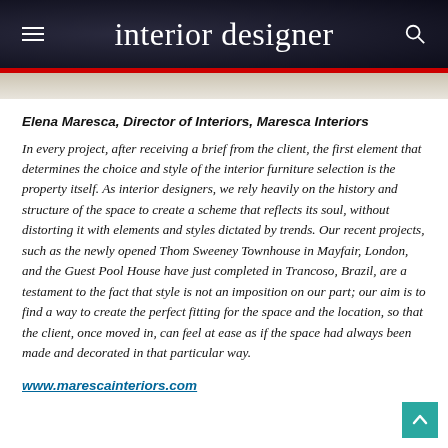interior designer
Elena Maresca, Director of Interiors, Maresca Interiors
In every project, after receiving a brief from the client, the first element that determines the choice and style of the interior furniture selection is the property itself. As interior designers, we rely heavily on the history and structure of the space to create a scheme that reflects its soul, without distorting it with elements and styles dictated by trends. Our recent projects, such as the newly opened Thom Sweeney Townhouse in Mayfair, London, and the Guest Pool House have just completed in Trancoso, Brazil, are a testament to the fact that style is not an imposition on our part; our aim is to find a way to create the perfect fitting for the space and the location, so that the client, once moved in, can feel at ease as if the space had always been made and decorated in that particular way.
www.marescainteriors.com